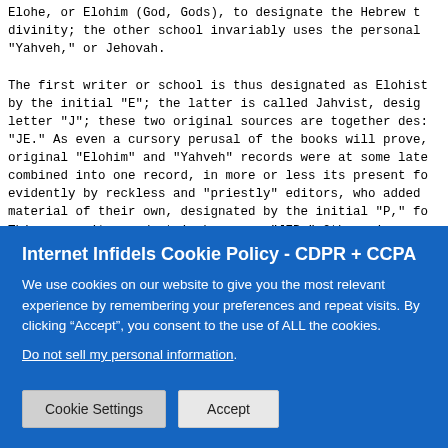Elohe, or Elohim (God, Gods), to designate the Hebrew t divinity; the other school invariably uses the personal "Yahveh," or Jehovah.

The first writer or school is thus designated as Elohist by the initial "E"; the latter is called Jahvist, desig letter "J"; these two original sources are together des: "JE." As even a cursory perusal of the books will prove, original "Elohim" and "Yahveh" records were at some late combined into one record, in more or less its present fo evidently by reckless and "priestly" editors, who added material of their own, designated by the initial "P," fo This composite product is known as "JEP." Other minor so combinations are also to be discovered; but "E" and "J" remarkable tale the "twice-told tale" -- of revelation a inspiration beyond all contradiction -- but contradicton always.
Internet Infidels Cookie Policy - CDPR + CCPA
We use cookies on our website to give you the most relevant experience by remembering your preferences and repeat visits. By clicking “Accept”, you consent to the use of ALL the cookies.
Do not sell my personal information.
Cookie Settings    Accept